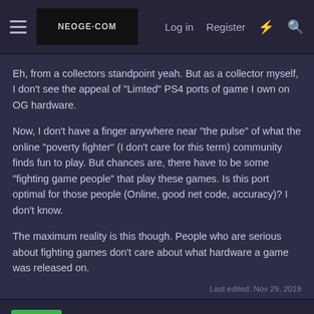NEOGEO.COM | Log in  Register
Eh, from a collectors standpoint yeah. But as a collector myself, I don't see the appeal of "Limted" PS4 ports of game I own on OG hardware.
Now, I don't have a finger anywhere near "the pulse" of what the online "poverty fighter" (I don't care for this term) community finds fun to play. But chances are, there have to be some "fighting game people" that play these games. Is this port optimal for those people (Online, good net code, accuracy)? I don't know.
The maximum reality is this though. People who are serious about fighting games don't care about what hardware a game was released on.
Last edited: Nov 29, 2019
oliverclaude
General Morden's Aide
★★★★★